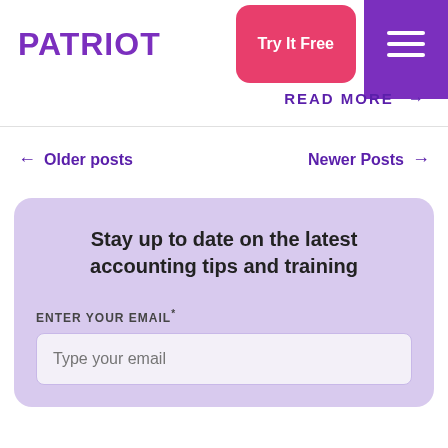PATRIOT
READ MORE →
← Older posts
Newer Posts →
Stay up to date on the latest accounting tips and training
ENTER YOUR EMAIL*
Type your email